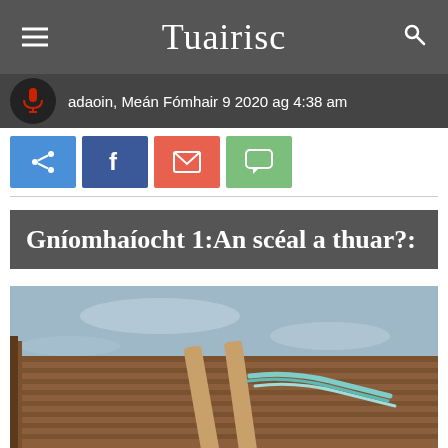Tuairisc
adaoin, Meán Fómhair 9 2020 ag 4:38 am
[Figure (other): Social share buttons: microphone/audio button, share button (blue), Facebook button (dark blue), email/envelope button (red-orange), chat/comment button (green)]
Gníomhaíocht 1:An scéal a thuar?:
[Figure (photo): Close-up photo of a wooden boat interior showing oars/paddles with teal/turquoise rope or cord, wooden slats on the deck, and calm water visible in the background.]